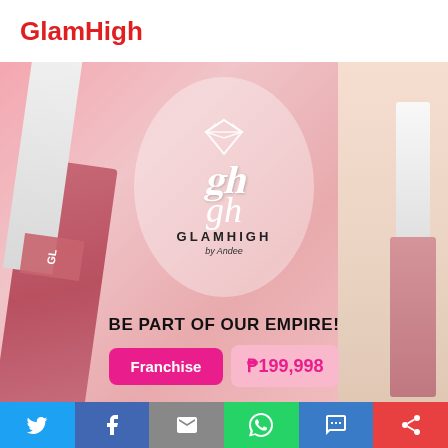GlamHigh
[Figure (photo): GlamHigh cosmetics brand advertisement showing lip gloss products on pink background with oval logo containing diamond icon and cursive GH script, text 'GLAMHIGH by Andee', 'BE PART OF OUR EMPIRE!', and franchise price of P199,998]
[Figure (infographic): Social sharing bar with Twitter, Facebook, Email, WhatsApp, SMS, and share icons]